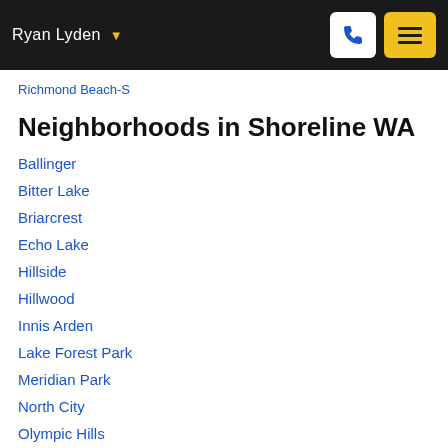Ryan Lyden
Richmond Beach-S
Neighborhoods in Shoreline WA
Ballinger
Bitter Lake
Briarcrest
Echo Lake
Hillside
Hillwood
Innis Arden
Lake Forest Park
Meridian Park
North City
Olympic Hills
Parkwood
Richmond Beach
Richmond Highlands
Ridgecrest